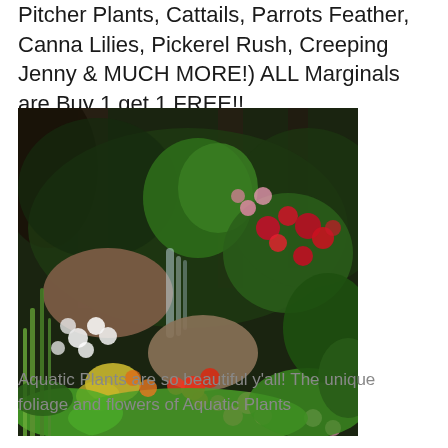Pitcher Plants, Cattails, Parrots Feather, Canna Lilies, Pickerel Rush, Creeping Jenny & MUCH MORE!) ALL Marginals are Buy 1 get 1 FREE!!
[Figure (photo): A lush garden scene with a small waterfall surrounded by colorful flowering plants including red, pink, and white flowers, green foliage, large rocks, and dense woodland in the background.]
Aquatic Plants are so beautiful y'all! The unique foliage and flowers of Aquatic Plants